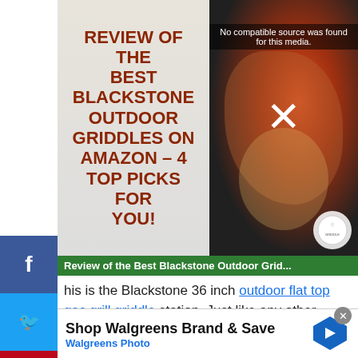[Figure (screenshot): Video thumbnail showing 'REVIEW OF THE BEST BLACKSTONE OUTDOOR GRIDDLES ON AMAZON – 4 TOP PICKS FOR YOU!' with an X overlay and 'No compatible source was found for this media.' message, alongside a photo of food cooking on a griddle.]
Review of the Best Blackstone Outdoor Grid...
his is the Blackstone 36 inch outdoor flat top gas grill griddle station. Just like any other Blackstone-made gear, it is the best companion for cooking. Let it be breakfast,
[Figure (infographic): Walgreens advertisement banner: 'Shop Walgreens Brand & Save' / 'Walgreens Photo' with logo and navigation arrow icon.]